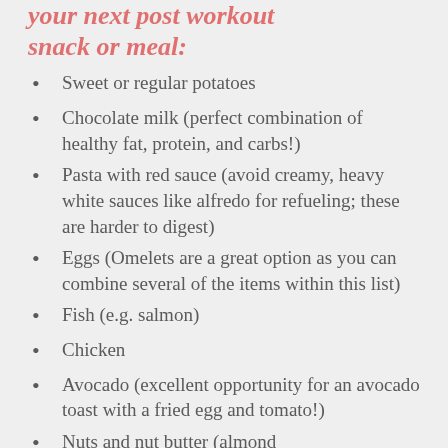your next post workout snack or meal:
Sweet or regular potatoes
Chocolate milk (perfect combination of healthy fat, protein, and carbs!)
Pasta with red sauce (avoid creamy, heavy white sauces like alfredo for refueling; these are harder to digest)
Eggs (Omelets are a great option as you can combine several of the items within this list)
Fish (e.g. salmon)
Chicken
Avocado (excellent opportunity for an avocado toast with a fried egg and tomato!)
Nuts and nut butter (almond…